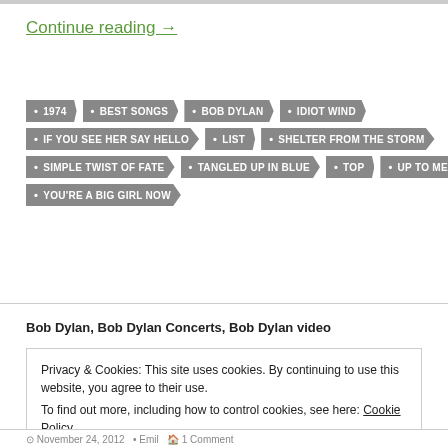Continue reading →
• 1974  • BEST SONGS  • BOB DYLAN  • IDIOT WIND  • IF YOU SEE HER SAY HELLO  • LIST  • SHELTER FROM THE STORM  • SIMPLE TWIST OF FATE  • TANGLED UP IN BLUE  • TOP  • UP TO ME  • YOU'RE A BIG GIRL NOW
Bob Dylan, Bob Dylan Concerts, Bob Dylan video
Privacy & Cookies: This site uses cookies. By continuing to use this website, you agree to their use. To find out more, including how to control cookies, see here: Cookie Policy
Close and accept